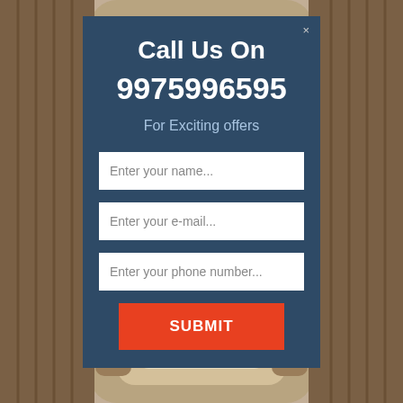[Figure (screenshot): Background showing a vintage jukebox in brown/beige tones]
Call Us On
9975996595
For Exciting offers
Enter your name...
Enter your e-mail...
Enter your phone number...
SUBMIT